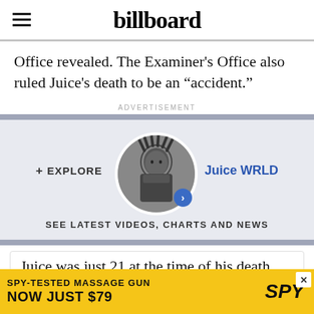billboard
Office revealed. The Examiner's Office also ruled Juice's death to be an “accident.”
ADVERTISEMENT
[Figure (infographic): Explore section with circular artist photo of Juice WRLD, plus and EXPLORE label, Juice WRLD name link, and SEE LATEST VIDEOS, CHARTS AND NEWS text]
Juice was just 21 at the time of his death. While travelin
[Figure (infographic): Advertisement banner: SPY-TESTED MASSAGE GUN NOW JUST $79 with SPY logo on yellow background]